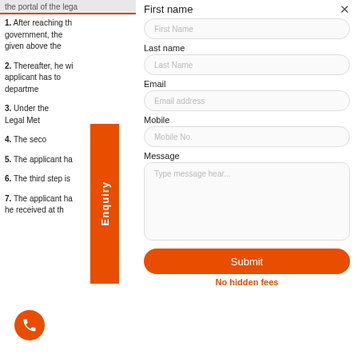the portal of the legal
1. After reaching th government, the given above the
2. Thereafter, he wi applicant has to department
3. Under the Legal Met
4. The secon
5. The applicant ha
6. The third step is
7. The applicant ha he received at th
[Figure (screenshot): Contact enquiry form overlay with fields: First name, Last name, Email, Mobile, Message, and a Submit button. Also shows an Enquiry tab on the left side and a phone button at the bottom left.]